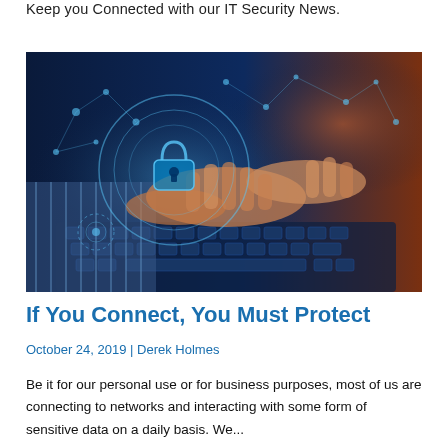Keep you Connected with our IT Security News.
[Figure (photo): Hands typing on a laptop keyboard overlaid with a digital blue security lock and circuit network graphics, representing cybersecurity.]
If You Connect, You Must Protect
October 24, 2019 | Derek Holmes
Be it for our personal use or for business purposes, most of us are connecting to networks and interacting with some form of sensitive data on a daily basis. We...